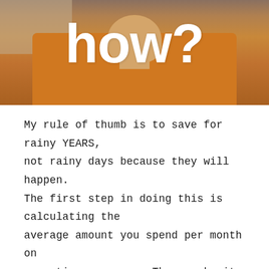[Figure (photo): Photo of a person wearing an orange sweater with large white text 'how?' overlaid on the image]
My rule of thumb is to save for rainy YEARS, not rainy days because they will happen. The first step in doing this is calculating the average amount you spend per month on operating expenses. Then, make it a priority to save 12-36 months worth of expenses.
Keep in mind, this is not an overnight process or hack. This is a long-term solution that'll help save your business tremendously